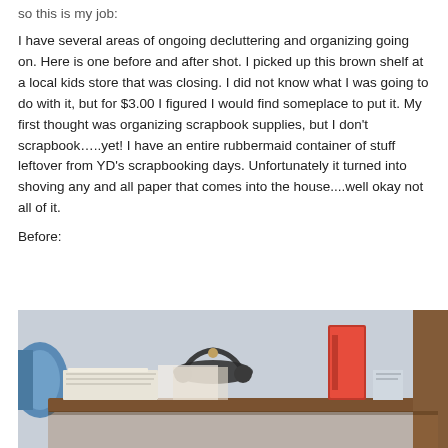so this is my job:
I have several areas of ongoing decluttering and organizing going on.  Here is one before and after shot.  I picked up this brown shelf at a local kids store that was closing.  I did not know what I was going to do with it, but for $3.00 I figured I would find someplace to put it.  My first thought was organizing scrapbook supplies, but I don't scrapbook…..yet!  I have an entire rubbermaid container of stuff leftover from YD's scrapbooking days.  Unfortunately it turned into shoving any and all paper that comes into the house....well okay not all of it.
Before:
[Figure (photo): A cluttered brown shelf with papers, books, a red binder, headphones, and other items piled on it. A blue decorative item is visible on the left side.]